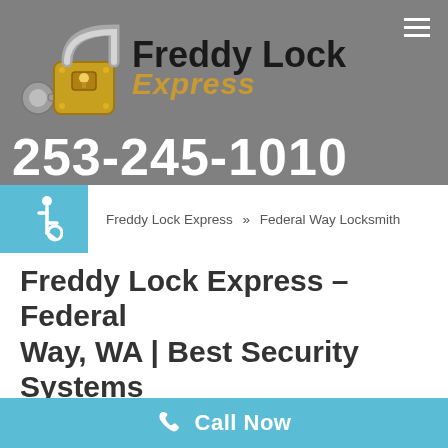[Figure (logo): Freddy Lock Express logo with padlock and key graphic, brand name 'Freddy Lock Express' in black and gold italic text, phone number 253-245-1010 in white bold text, on a gray background.]
[Figure (infographic): Blue square box with white wheelchair accessibility icon (ISA symbol).]
Freddy Lock Express » Federal Way Locksmith
Freddy Lock Express – Federal Way, WA | Best Security Systems
Getting the right security system today is part of good business and whether the system is for home or work, you need a system that works. Contrary to the traditional belief that locksmiths only deal with locks and keys, today many
Call Now